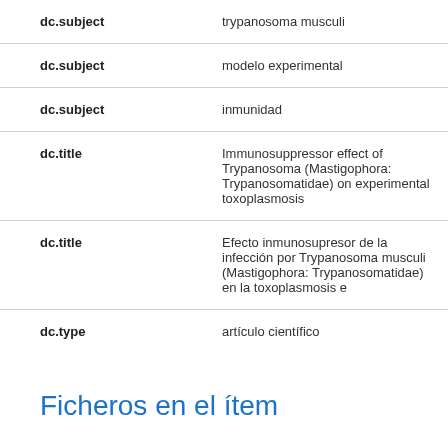| Field | Value |
| --- | --- |
| dc.subject | trypanosoma musculi |
| dc.subject | modelo experimental |
| dc.subject | inmunidad |
| dc.title | Immunosuppressor effect of Trypanosoma (Mastigophora: Trypanosomatidae) on experimental toxoplasmosis |
| dc.title | Efecto inmunosupresor de la infección por Trypanosoma musculi (Mastigophora: Trypanosomatidae) en la toxoplasmosis e |
| dc.type | artículo científico |
Ficheros en el ítem